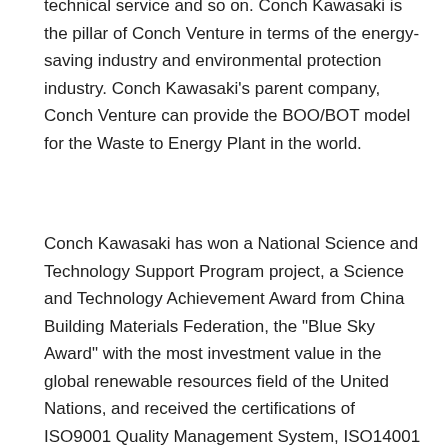technical service and so on. Conch Kawasaki is the pillar of Conch Venture in terms of the energy-saving industry and environmental protection industry. Conch Kawasaki's parent company, Conch Venture can provide the BOO/BOT model for the Waste to Energy Plant in the world.
Conch Kawasaki has won a National Science and Technology Support Program project, a Science and Technology Achievement Award from China Building Materials Federation, the "Blue Sky Award" with the most investment value in the global renewable resources field of the United Nations, and received the certifications of ISO9001 Quality Management System, ISO14001 Environmental Management System and GB/T28001 Occupational Health and Safety Management System. The company has obtained 142 patents (including 10 international patents) among which there are 28 invention patents, 105 utility models, 5 appearance patents, and 4 trademark patents, and